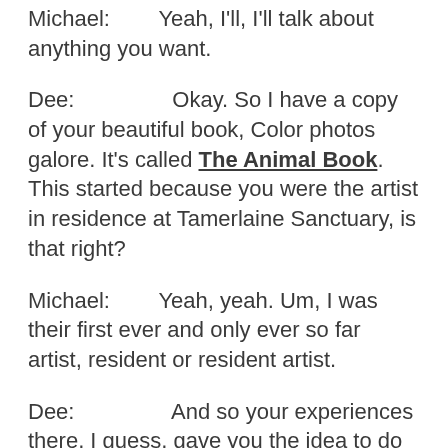Michael:        Yeah, I'll, I'll talk about anything you want.
Dee:                Okay. So I have a copy of your beautiful book, Color photos galore. It's called The Animal Book. This started because you were the artist in residence at Tamerlaine Sanctuary, is that right?
Michael:        Yeah, yeah. Um, I was their first ever and only ever so far artist, resident or resident artist.
Dee:                And so your experiences there, I guess, gave you the idea to do this, this book and The Animal Show music.
Michael:        Yeah. You know, they kind of